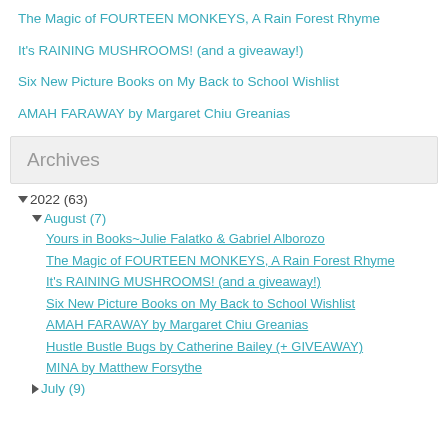The Magic of FOURTEEN MONKEYS, A Rain Forest Rhyme
It's RAINING MUSHROOMS! (and a giveaway!)
Six New Picture Books on My Back to School Wishlist
AMAH FARAWAY by Margaret Chiu Greanias
Archives
▼ 2022 (63)
▼ August (7)
Yours in Books~Julie Falatko & Gabriel Alborozo
The Magic of FOURTEEN MONKEYS, A Rain Forest Rhyme
It's RAINING MUSHROOMS! (and a giveaway!)
Six New Picture Books on My Back to School Wishlist
AMAH FARAWAY by Margaret Chiu Greanias
Hustle Bustle Bugs by Catherine Bailey (+ GIVEAWAY)
MINA by Matthew Forsythe
► July (9)